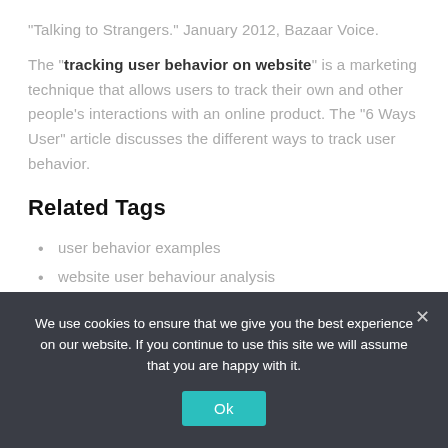"Talking to Strangers." January 2012, Bazaar Voice.
The "tracking user behavior on website" is a marketing technique that allows users to track their own and other people's interactions with an online product. The "6 Ways User" article discusses the different ways to track user behavior.
Related Tags
user behavior examples
website user behaviour analysis
user behaviour tracking tools
We use cookies to ensure that we give you the best experience on our website. If you continue to use this site we will assume that you are happy with it.